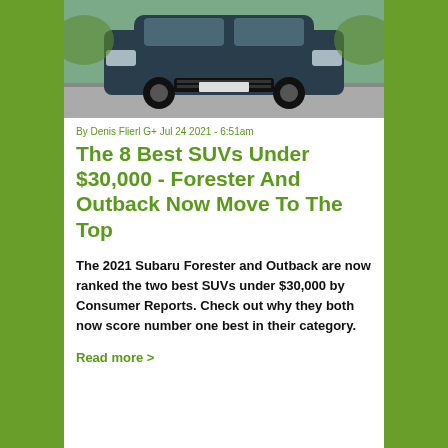[Figure (photo): Front view of a dark-colored SUV (Subaru) on a road with green foliage background]
By Denis Flierl G+ Jul 24 2021 - 6:51am
The 8 Best SUVs Under $30,000 - Forester And Outback Now Move To The Top
The 2021 Subaru Forester and Outback are now ranked the two best SUVs under $30,000 by Consumer Reports. Check out why they both now score number one best in their category.
Read more >